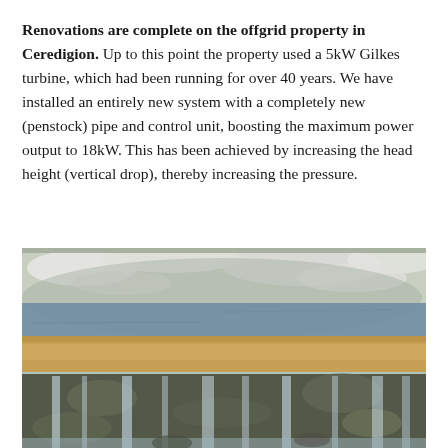Renovations are complete on the offgrid property in Ceredigion. Up to this point the property used a 5kW Gilkes turbine, which had been running for over 40 years. We have installed an entirely new system with a completely new (penstock) pipe and control unit, boosting the maximum power output to 18kW. This has been achieved by increasing the head height (vertical drop), thereby increasing the pressure.
[Figure (photo): Photograph of a stone weir/dam with water overflowing over a flat concrete or stone ledge. Water cascades down the rocky face of the dam. Snow or white foam visible on rocks in background. Wintry outdoor scene.]